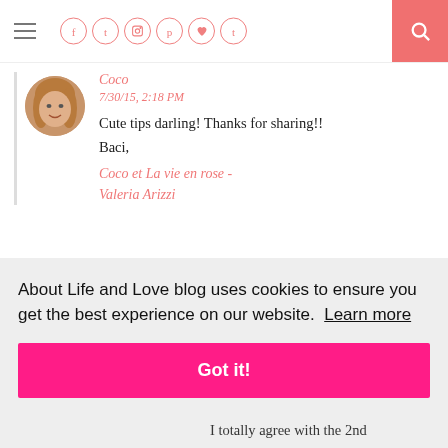Navigation bar with hamburger menu, social icons (Facebook, Twitter, Instagram, Pinterest, Heart, Tumblr), and search button
Coco
7/30/15, 2:18 PM
Cute tips darling! Thanks for sharing!!
Baci,
Coco et La vie en rose - Valeria Arizzi
About Life and Love blog uses cookies to ensure you get the best experience on our website.  Learn more
Got it!
I totally agree with the 2nd